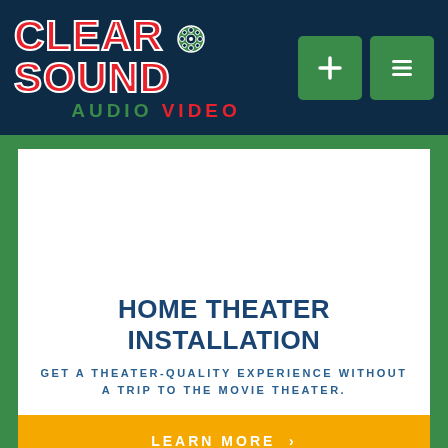[Figure (logo): Clear Sound Audio Video company logo with red text on dark navy background, with green navigation buttons]
HOME THEATER INSTALLATION
GET A THEATER-QUALITY EXPERIENCE WITHOUT A TRIP TO THE MOVIE THEATER.
LEARN MORE >